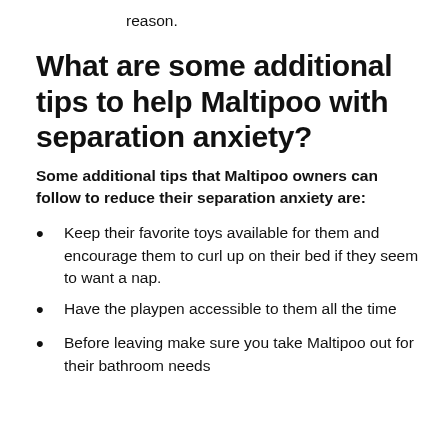reason.
What are some additional tips to help Maltipoo with separation anxiety?
Some additional tips that Maltipoo owners can follow to reduce their separation anxiety are:
Keep their favorite toys available for them and encourage them to curl up on their bed if they seem to want a nap.
Have the playpen accessible to them all the time
Before leaving make sure you take Maltipoo out for their bathroom needs